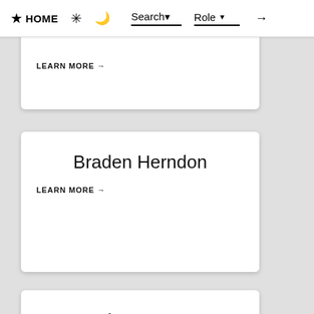HOME  Search  Role
LEARN MORE →
Braden Herndon
LEARN MORE →
Brian Hoang
LEARN MORE →